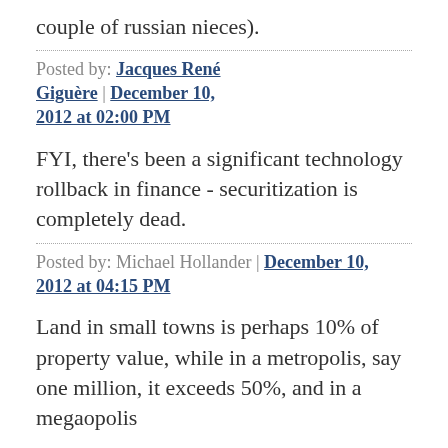couple of russian nieces).
Posted by: Jacques René Giguère | December 10, 2012 at 02:00 PM
FYI, there's been a significant technology rollback in finance - securitization is completely dead.
Posted by: Michael Hollander | December 10, 2012 at 04:15 PM
Land in small towns is perhaps 10% of property value, while in a metropolis, say one million, it exceeds 50%, and in a megaopolis